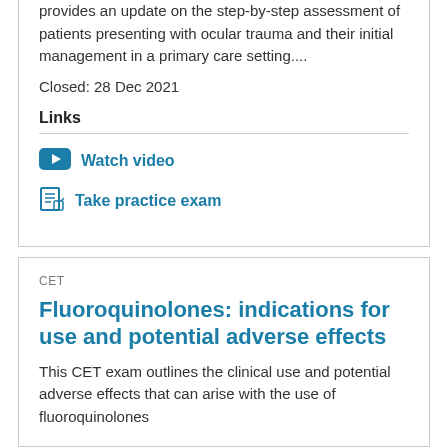provides an update on the step-by-step assessment of patients presenting with ocular trauma and their initial management in a primary care setting....
Closed: 28 Dec 2021
Links
Watch video
Take practice exam
CET
Fluoroquinolones: indications for use and potential adverse effects
This CET exam outlines the clinical use and potential adverse effects that can arise with the use of fluoroquinolones